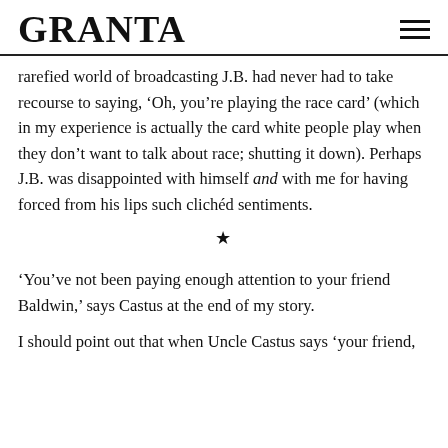GRANTA
rarefied world of broadcasting J.B. had never had to take recourse to saying, ‘Oh, you’re playing the race card’ (which in my experience is actually the card white people play when they don’t want to talk about race; shutting it down). Perhaps J.B. was disappointed with himself and with me for having forced from his lips such clichéd sentiments.
*
‘You’ve not been paying enough attention to your friend Baldwin,’ says Castus at the end of my story.
I should point out that when Uncle Castus says ‘your friend,